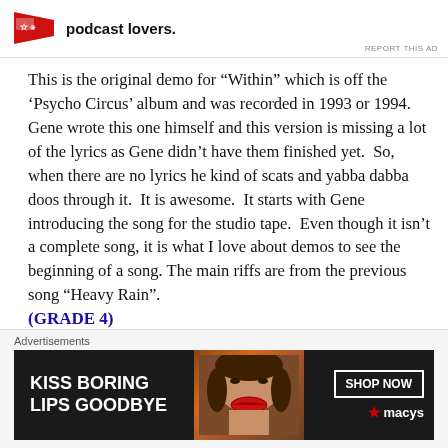podcast lovers.
This is the original demo for “Within” which is off the ‘Psycho Circus’ album and was recorded in 1993 or 1994.  Gene wrote this one himself and this version is missing a lot of the lyrics as Gene didn’t have them finished yet.  So, when there are no lyrics he kind of scats and yabba dabba doos through it.  It is awesome.  It starts with Gene introducing the song for the studio tape.  Even though it isn’t a complete song, it is what I love about demos to see the beginning of a song. The main riffs are from the previous song “Heavy Rain”.
(GRADE 4)
Advertisements
[Figure (infographic): Macy's advertisement banner: KISS BORING LIPS GOODBYE with SHOP NOW button and Macy's star logo, dark background with woman's face showing red lips]